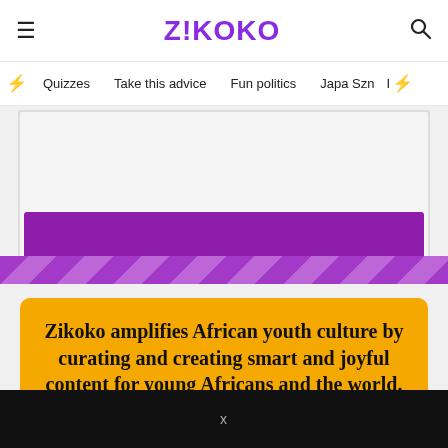ZIKOKO
Quizzes  Take this advice  Fun politics  Japa Szn
[Figure (screenshot): Purple banner/promotional image area with purple bar and decorative stripe]
Zikoko amplifies African youth culture by curating and creating smart and joyful content for young Africans and the world.
X